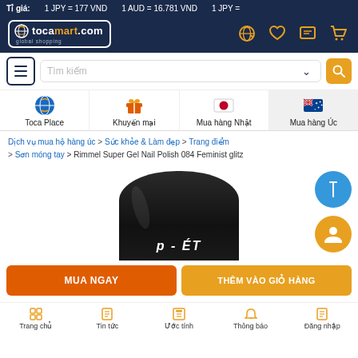Tỉ giá:   1 JPY = 177 VND   1 AUD = 16.781 VND   1 JPY =
[Figure (screenshot): tocamart.com logo with navigation icons (globe, heart, message, cart) on dark navy header]
Tìm kiếm (search bar with hamburger menu, chevron and search icon)
Toca Place | Khuyến mại | Mua hàng Nhật | Mua hàng Úc (category navigation)
Dịch vụ mua hộ hàng úc > Sức khỏe & Làm đẹp > Trang điểm > Sơn móng tay > Rimmel Super Gel Nail Polish 084 Feminist glitz
[Figure (photo): Black nail polish bottle (Rimmel Super Gel) partially visible, showing top of bottle with text P - ÉT]
MUA NGAY | THÊM VÀO GIỎ HÀNG
Trang chủ | Tin tức | Ước tính | Thông báo | Đăng nhập